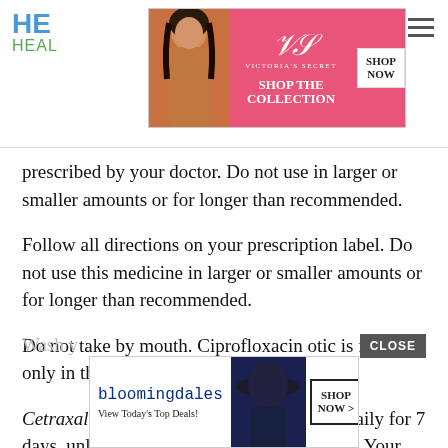HE HEAL [header with Victoria's Secret advertisement]
[Figure (screenshot): Victoria's Secret advertisement banner: pink background, VS logo, 'SHOP THE COLLECTION' text, 'SHOP NOW' button, model photo on left]
prescribed by your doctor. Do not use in larger or smaller amounts or for longer than recommended.
Follow all directions on your prescription label. Do not use this medicine in larger or smaller amounts or for longer than recommended.
Do not take by mouth. Ciprofloxacin otic is for use only in the ears.
Cetraxal ear drops should be used 2 times daily for 7 days, unless your doctor tells you otherwise. Your doses should be spaced at least 12 hours apart.
Wash y
[Figure (screenshot): Bloomingdale's advertisement: 'bloomingdales View Today's Top Deals!' with model in hat, 'SHOP NOW >' button]